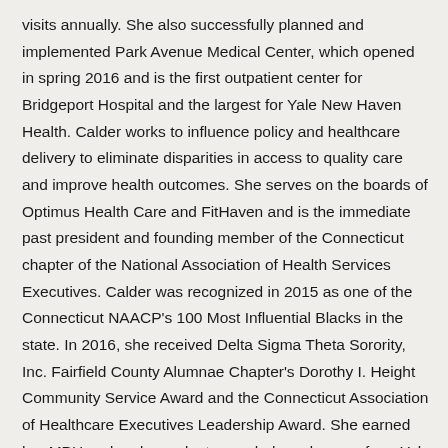visits annually. She also successfully planned and implemented Park Avenue Medical Center, which opened in spring 2016 and is the first outpatient center for Bridgeport Hospital and the largest for Yale New Haven Health. Calder works to influence policy and healthcare delivery to eliminate disparities in access to quality care and improve health outcomes. She serves on the boards of Optimus Health Care and FitHaven and is the immediate past president and founding member of the Connecticut chapter of the National Association of Health Services Executives. Calder was recognized in 2015 as one of the Connecticut NAACP's 100 Most Influential Blacks in the state. In 2016, she received Delta Sigma Theta Sorority, Inc. Fairfield County Alumnae Chapter's Dorothy I. Height Community Service Award and the Connecticut Association of Healthcare Executives Leadership Award. She earned her MPH and undergraduate psychology degrees from Yale University and is a fellow of the American College of Healthcare Executives.